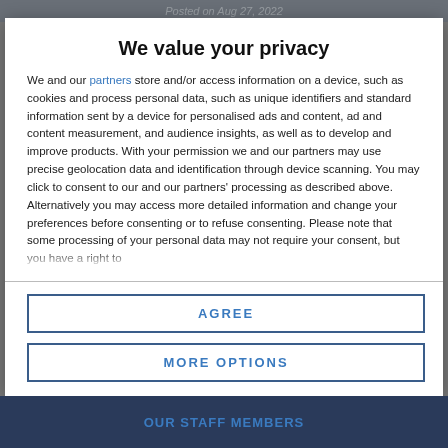Posted on Aug 27, 2022
We value your privacy
We and our partners store and/or access information on a device, such as cookies and process personal data, such as unique identifiers and standard information sent by a device for personalised ads and content, ad and content measurement, and audience insights, as well as to develop and improve products. With your permission we and our partners may use precise geolocation data and identification through device scanning. You may click to consent to our and our partners' processing as described above. Alternatively you may access more detailed information and change your preferences before consenting or to refuse consenting. Please note that some processing of your personal data may not require your consent, but you have a right to
AGREE
MORE OPTIONS
OUR STAFF MEMBERS